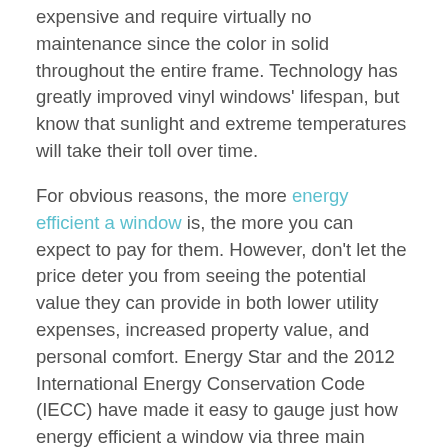expensive and require virtually no maintenance since the color in solid throughout the entire frame. Technology has greatly improved vinyl windows' lifespan, but know that sunlight and extreme temperatures will take their toll over time.
For obvious reasons, the more energy efficient a window is, the more you can expect to pay for them. However, don't let the price deter you from seeing the potential value they can provide in both lower utility expenses, increased property value, and personal comfort. Energy Star and the 2012 International Energy Conservation Code (IECC) have made it easy to gauge just how energy efficient a window via three main qualifiers: U-value, Solar Heat Gain Coefficient (SHGC), and low emissivity (low E). The U-value measures how much heat is lost through your window out into the